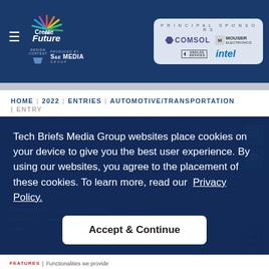Create the Future Design Contest — Principal Sponsors: COMSOL, Mouser Electronics, Analog Devices, Intel
HOME | 2022 | ENTRIES | AUTOMOTIVE/TRANSPORTATION | ENTRY
Tech Briefs Media Group websites place cookies on your device to give you the best user experience. By using our websites, you agree to the placement of these cookies. To learn more, read our Privacy Policy.
Accept & Continue
Momak Ghosh · Votes: 1 · Automotive/ Jamshedpur · Views: 122 · Transportation · India · Jun 4, 2022
FEATURES | Functionalities we provide